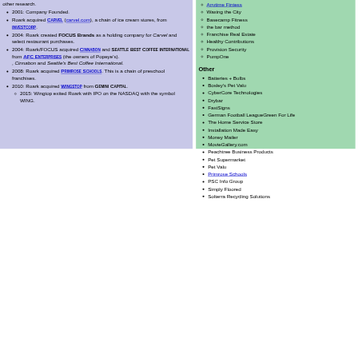other research.
2001: Company Founded.
Roark acquired CARVEL (carvel.com), a chain of ice cream stores, from INVESTCORP.
2004: Roark created FOCUS BRANDS as a holding company for Carvel and select restaurant purchases.
2004: Roark/FOCUS acquired CINNABON and SEATTLE BEST COFFEE INTERNATIONAL from AFC ENTERPRISES (the owners of Popeye's). , Cinnabon and Seattle's Best Coffee International.
2008: Roark acquired PRIMROSE SCHOOLS. This is a chain of preschool franchises.
2010: Roark acquired WINGSTOP from GEMINI CAPITAL.
2015: Wingtop exited Roark with IPO on the NASDAQ with the symbol WING.
Anytime Fintess
Waxing the City
Basecamp Fitness
the bar method
Franchise Real Estate
Healthy Contributions
Provision Security
PumpOne
Other
Batteries + Bulbs
Bosley's Pet Valu
CyberCore Technologies
Drybar
FastSigns
German Football LeagueGreen For Life
The Home Service Store
Installation Made Easy
Money Mailer
MovieGallery.com
Peachtree Business Products
Pet Supermarket
Pet Valu
Primrose Schools
PSC Info Group
Simply Floored
Solterra Recycling Solutions